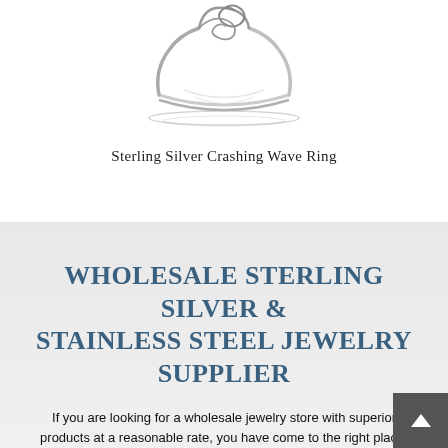[Figure (illustration): Sterling silver ring with a crashing wave design, shown from the front. The ring has a spiral wave shape at the top and a flat band, rendered in silver with reflective highlights against a white background.]
Sterling Silver Crashing Wave Ring
WHOLESALE STERLING SILVER & STAINLESS STEEL JEWELRY SUPPLIER
If you are looking for a wholesale jewelry store with superior products at a reasonable rate, you have come to the right place!